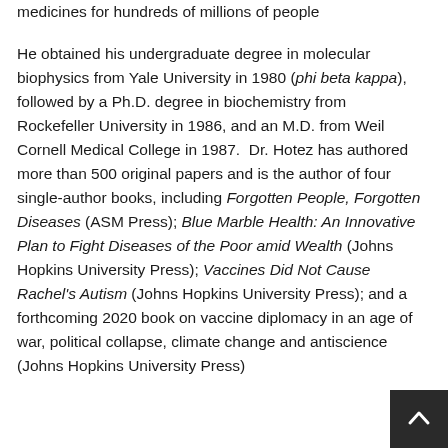medicines for hundreds of millions of people He obtained his undergraduate degree in molecular biophysics from Yale University in 1980 (phi beta kappa), followed by a Ph.D. degree in biochemistry from Rockefeller University in 1986, and an M.D. from Weil Cornell Medical College in 1987. Dr. Hotez has authored more than 500 original papers and is the author of four single-author books, including Forgotten People, Forgotten Diseases (ASM Press); Blue Marble Health: An Innovative Plan to Fight Diseases of the Poor amid Wealth (Johns Hopkins University Press); Vaccines Did Not Cause Rachel's Autism (Johns Hopkins University Press); and a forthcoming 2020 book on vaccine diplomacy in an age of war, political collapse, climate change and antiscience (Johns Hopkins University Press)